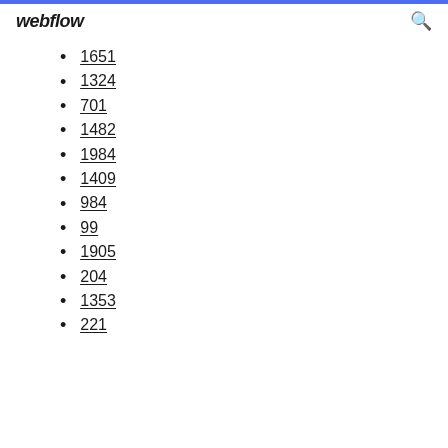webflow
1651
1324
701
1482
1984
1409
984
99
1905
204
1353
221